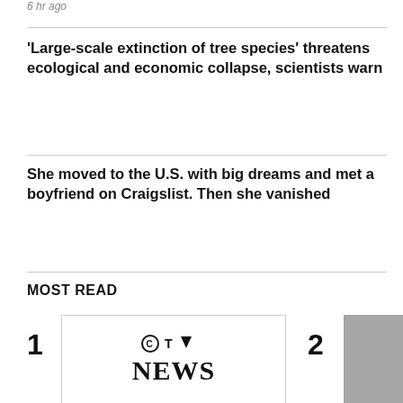6 hr ago
'Large-scale extinction of tree species' threatens ecological and economic collapse, scientists warn
She moved to the U.S. with big dreams and met a boyfriend on Craigslist. Then she vanished
MOST READ
1
[Figure (logo): CTV News logo with circle-C, triangle-V, and large serif NEWS text]
2
[Figure (photo): Partially visible grayscale photo thumbnail]